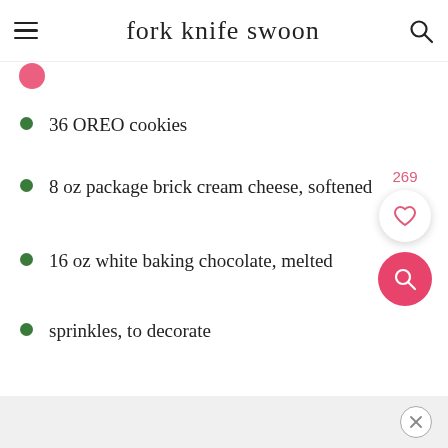fork knife swoon
36 OREO cookies
8 oz package brick cream cheese, softened
16 oz white baking chocolate, melted
sprinkles, to decorate
269